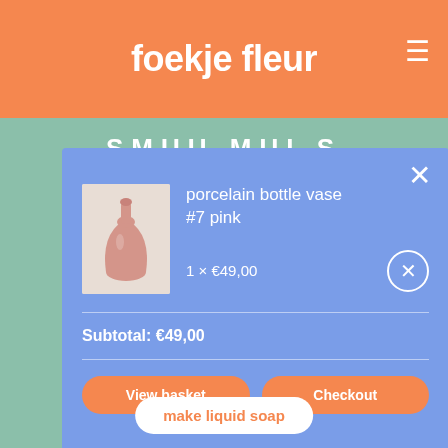foekje fleur
Use my Bubb... windows t...
The organic so... to dirt. It's a m... made with... Bubble Bud... ea...
Still a fan of l... ma...
[Figure (screenshot): Shopping cart modal overlay on foekje fleur website showing a porcelain bottle vase #7 pink, 1 x €49,00, Subtotal: €49,00, with View basket and Checkout buttons]
make liquid soap